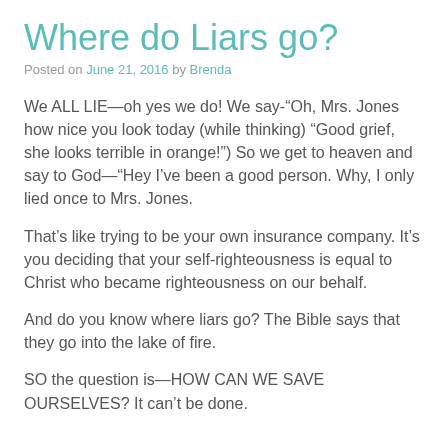Where do Liars go?
Posted on June 21, 2016 by Brenda
We ALL LIE—oh yes we do! We say-“Oh, Mrs. Jones how nice you look today (while thinking) “Good grief, she looks terrible in orange!”) So we get to heaven and say to God—“Hey I’ve been a good person. Why, I only lied once to Mrs. Jones.
That’s like trying to be your own insurance company. It’s you deciding that your self-righteousness is equal to Christ who became righteousness on our behalf.
And do you know where liars go? The Bible says that they go into the lake of fire.
SO the question is—HOW CAN WE SAVE OURSELVES? It can’t be done.